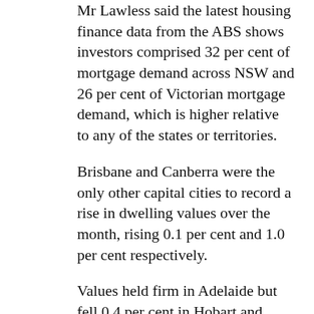Mr Lawless said the latest housing finance data from the ABS shows investors comprised 32 per cent of mortgage demand across NSW and 26 per cent of Victorian mortgage demand, which is higher relative to any of the states or territories.
Brisbane and Canberra were the only other capital cities to record a rise in dwelling values over the month, rising 0.1 per cent and 1.0 per cent respectively.
Values held firm in Adelaide but fell 0.4 per cent in Hobart and continued their long run of losses in Perth (down 0.8 per cent) and Darwin (down 0.2 per cent).
Combined regional dwelling prices increased by 0.1 per cent, compared to a 1.1 per cent rise for combined capital city prices.
“Although markets outside of Sydney and Melbourne aren’t showing the same recovery trend, most areas have either seen a reduction in